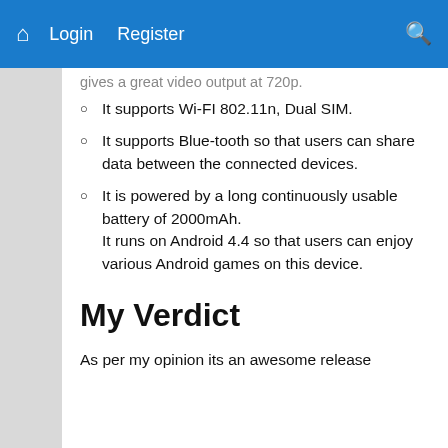Login  Register
gives a great video output at 720p.
It supports Wi-FI 802.11n, Dual SIM.
It supports Blue-tooth so that users can share data between the connected devices.
It is powered by a long continuously usable battery of 2000mAh. It runs on Android 4.4 so that users can enjoy various Android games on this device.
My Verdict
As per my opinion its an awesome release